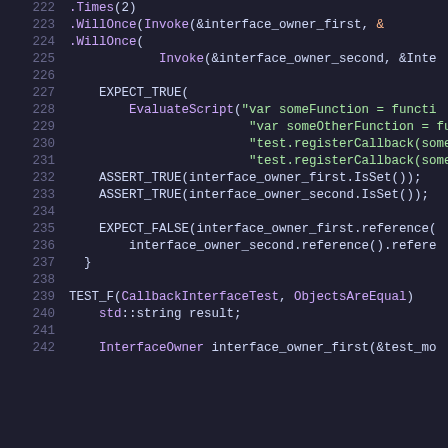Code listing lines 222-242 showing C++ test code with syntax highlighting
222   .Times(2)
223   .WillOnce(Invoke(&interface_owner_first, &
224   .WillOnce(
225       Invoke(&interface_owner_second, &Inte
226
227   EXPECT_TRUE(
228       EvaluateScript("var someFunction = functi
229                       "var someOtherFunction = fu
230                       "test.registerCallback(some
231                       "test.registerCallback(some
232   ASSERT_TRUE(interface_owner_first.IsSet());
233   ASSERT_TRUE(interface_owner_second.IsSet());
234
235   EXPECT_FALSE(interface_owner_first.reference(
236       interface_owner_second.reference().refere
237 }
238
239 TEST_F(CallbackInterfaceTest, ObjectsAreEqual)
240   std::string result;
241
242   InterfaceOwner interface_owner_first(&test_mo